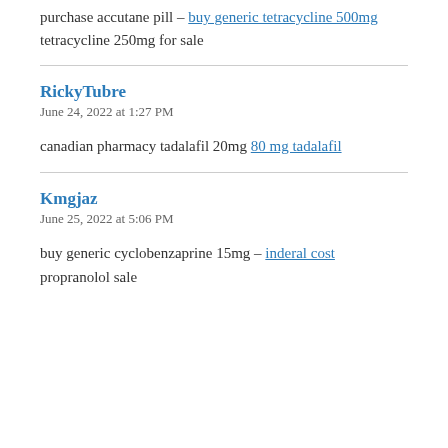purchase accutane pill – buy generic tetracycline 500mg tetracycline 250mg for sale
RickyTubre
June 24, 2022 at 1:27 PM
canadian pharmacy tadalafil 20mg 80 mg tadalafil
Kmgjaz
June 25, 2022 at 5:06 PM
buy generic cyclobenzaprine 15mg – inderal cost propranolol sale